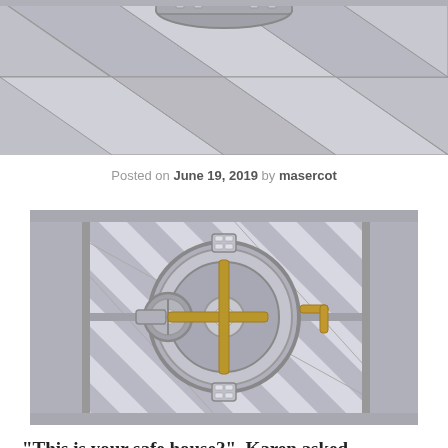[Figure (photo): Top portion of a bank vault door viewed from above, showing a circular vault door with metallic panels and hexagonal floor pattern. Gray metallic tones.]
Posted on June 19, 2019 by masercot
[Figure (photo): Front view of a large bank vault door with silver metallic panels, circular vault door in the center with gold-colored locking mechanism handles and bolts, on a striped reflective background.]
“This is your safe house?”, Karen asked,